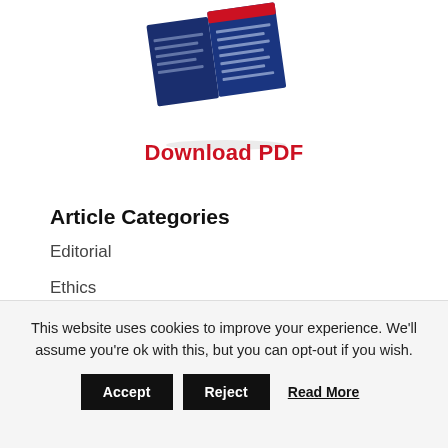[Figure (illustration): A thumbnail image of a blue document/report with red and white accents on its cover, shown at a slight angle.]
Download PDF
Article Categories
Editorial
Ethics
History
Advocacy
This website uses cookies to improve your experience. We'll assume you're ok with this, but you can opt-out if you wish.
Accept  Reject  Read More